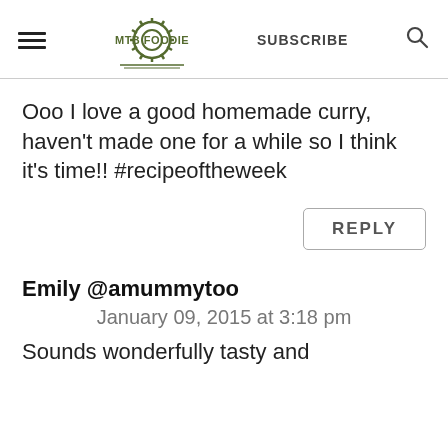MTB FOODIE | SUBSCRIBE
Ooo I love a good homemade curry, haven't made one for a while so I think it's time!! #recipeoftheweek
REPLY
Emily @amummytoo
January 09, 2015 at 3:18 pm
Sounds wonderfully tasty and